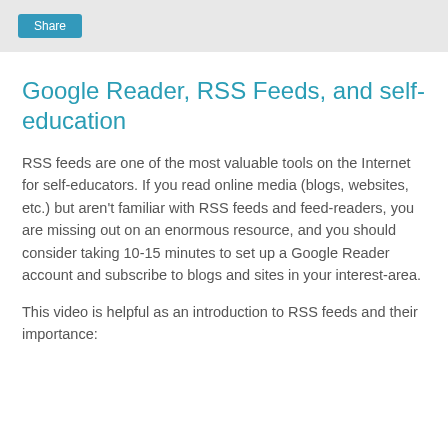Share
Google Reader, RSS Feeds, and self-education
RSS feeds are one of the most valuable tools on the Internet for self-educators. If you read online media (blogs, websites, etc.) but aren't familiar with RSS feeds and feed-readers, you are missing out on an enormous resource, and you should consider taking 10-15 minutes to set up a Google Reader account and subscribe to blogs and sites in your interest-area.
This video is helpful as an introduction to RSS feeds and their importance: